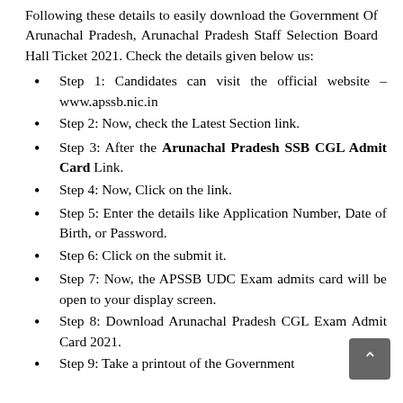Following these details to easily download the Government Of Arunachal Pradesh, Arunachal Pradesh Staff Selection Board Hall Ticket 2021. Check the details given below us:
Step 1: Candidates can visit the official website – www.apssb.nic.in
Step 2: Now, check the Latest Section link.
Step 3: After the Arunachal Pradesh SSB CGL Admit Card Link.
Step 4: Now, Click on the link.
Step 5: Enter the details like Application Number, Date of Birth, or Password.
Step 6: Click on the submit it.
Step 7: Now, the APSSB UDC Exam admits card will be open to your display screen.
Step 8: Download Arunachal Pradesh CGL Exam Admit Card 2021.
Step 9: Take a printout of the Government Of Arunachal Pradesh APSSB Exam Hall...